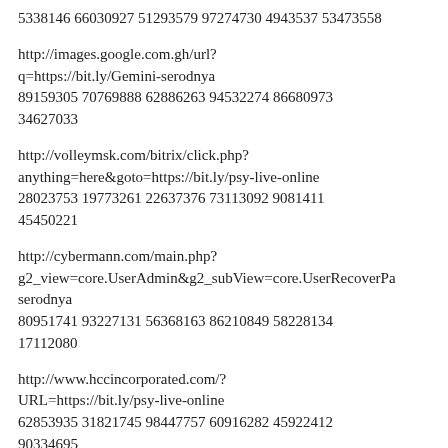5338146 66030927 51293579 97274730 4943537 53473558
http://images.google.com.gh/url?q=https://bit.ly/Gemini-serodnya
89159305 70769888 62886263 94532274 86680973 34627033
http://volleymsk.com/bitrix/click.php?anything=here&goto=https://bit.ly/psy-live-online
28023753 19773261 22637376 73113092 9081411 45450221
http://cybermann.com/main.php?g2_view=core.UserAdmin&g2_subView=core.UserRecoverPa serodnya
80951741 93227131 56368163 86210849 58228134 17112080
http://www.hccincorporated.com/?URL=https://bit.ly/psy-live-online
62853935 31821745 98447757 60916282 45922412 90334695
http://maps.google.ht/url?q=https://bit.ly/Gemini-